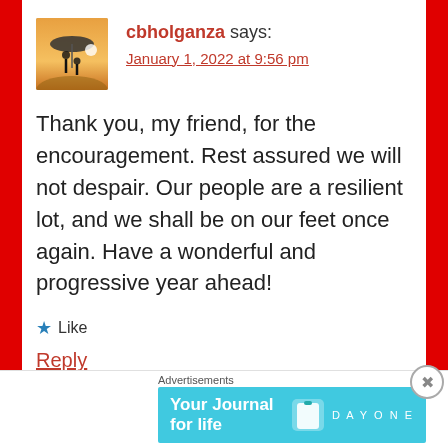[Figure (photo): User avatar photo showing silhouette of two people under umbrella at sunset]
cbholganza says:
January 1, 2022 at 9:56 pm
Thank you, my friend, for the encouragement. Rest assured we will not despair. Our people are a resilient lot, and we shall be on our feet once again. Have a wonderful and progressive year ahead!
★ Like
Reply
Advertisements
[Figure (screenshot): Day One app advertisement banner with text 'Your Journal for life' and Day One logo on cyan background]